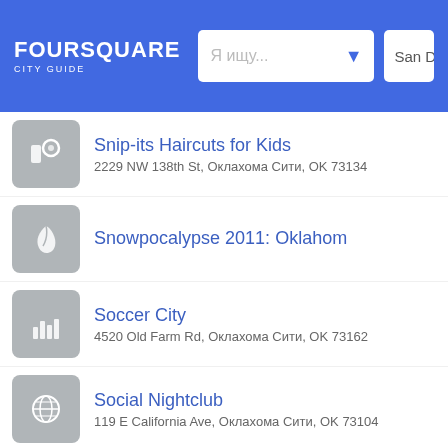FOURSQUARE CITY GUIDE — Я ищу... — San D
Snip-its Haircuts for Kids
2229 NW 138th St, Оклахома Сити, OK 73134
Snowpocalypse 2011: Oklahom
Soccer City
4520 Old Farm Rd, Оклахома Сити, OK 73162
Social Nightclub
119 E California Ave, Оклахома Сити, OK 73104
Soda Pop's Cafe
1020 SW 119th St (S Western Ave), Оклахома Си
Someplace Else a Deli & Baker
2310 N Western Ave, Оклахома Сити, OK 73106